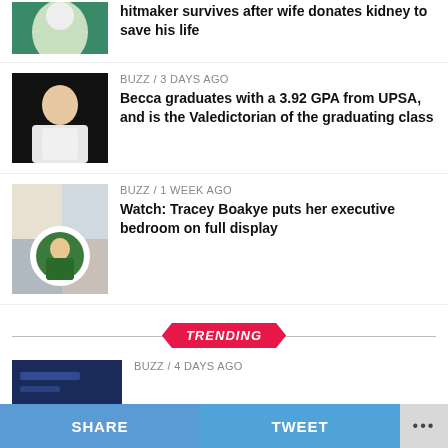[Figure (photo): Partial photo of a person at top left (partially visible, cut off at top)]
hitmaker survives after wife donates kidney to save his life
[Figure (photo): Photo of a woman in a white dress]
BUZZ / 3 days ago
Becca graduates with a 3.92 GPA from UPSA, and is the Valedictorian of the graduating class
[Figure (photo): Collage photo with a circular portrait of a woman in traditional green attire]
BUZZ / 1 week ago
Watch: Tracey Boakye puts her executive bedroom on full display
TRENDING
[Figure (photo): Dark blue thumbnail image for trending story]
BUZZ / 4 days ago
SHARE   TWEET   •••